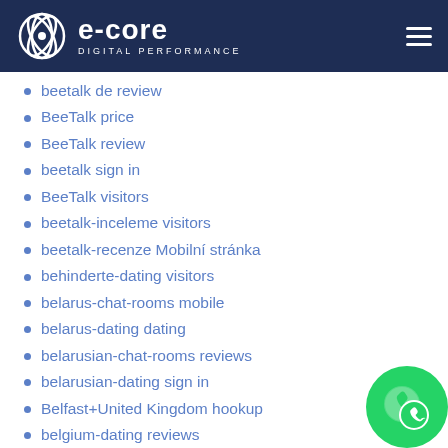e-core DIGITAL PERFORMANCE
beetalk de review
BeeTalk price
BeeTalk review
beetalk sign in
BeeTalk visitors
beetalk-inceleme visitors
beetalk-recenze Mobilní stránka
behinderte-dating visitors
belarus-chat-rooms mobile
belarus-dating dating
belarusian-chat-rooms reviews
belarusian-dating sign in
Belfast+United Kingdom hookup
belgium-dating reviews
Belleville+Canada hookup
Belleville+Canada hookup sites
bellevue escort
bellevue escort directory
bellevue escort index
bellevue escort service
bellevue escort reviews